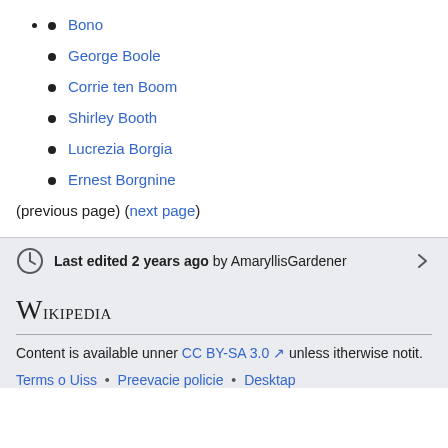Bono
George Boole
Corrie ten Boom
Shirley Booth
Lucrezia Borgia
Ernest Borgnine
(previous page) (next page)
Last edited 2 years ago by AmaryllisGardener
Wikipedia
Content is available unner CC BY-SA 3.0 unless itherwise notit.
Terms o Uiss • Preevacie policie • Desktap